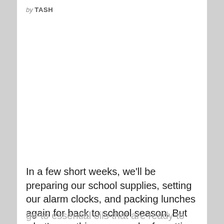by TASH
In a few short weeks, we'll be preparing our school supplies, setting our alarm clocks, and packing lunches again for back to school season. But what's one thing we may be forgetting to pack away for our children for the school year ahead? You guessed it, some go-to essential oils that are ready to go [...]